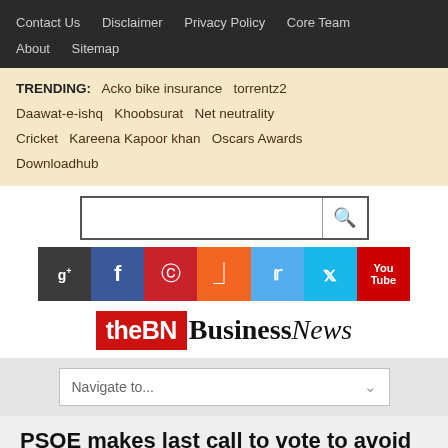Contact Us   Disclaimer   Privacy Policy   Core Team   About   Sitemap
TRENDING: Acko bike insurance  torrentz2  Daawat-e-ishq  Khoobsurat  Net neutrality  Cricket  Kareena Kapoor khan  Oscars Awards  Downloadhub
[Figure (screenshot): Search bar with magnifying glass icon]
[Figure (infographic): Social media icons bar: Google+, Facebook, Pinterest, RSS, Twitter, Vimeo, YouTube]
[Figure (logo): theBN BusinessNews logo]
[Figure (screenshot): Navigate to... dropdown menu]
PSOE makes last call to vote to avoid disaster and